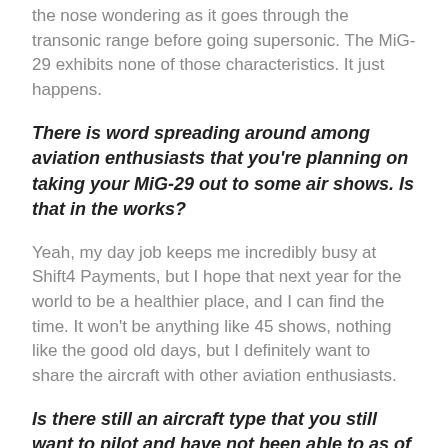the nose wondering as it goes through the transonic range before going supersonic. The MiG-29 exhibits none of those characteristics. It just happens.
There is word spreading around among aviation enthusiasts that you're planning on taking your MiG-29 out to some air shows. Is that in the works?
Yeah, my day job keeps me incredibly busy at Shift4 Payments, but I hope that next year for the world to be a healthier place, and I can find the time. It won't be anything like 45 shows, nothing like the good old days, but I definitely want to share the aircraft with other aviation enthusiasts.
Is there still an aircraft type that you still want to pilot and have not been able to as of yet?